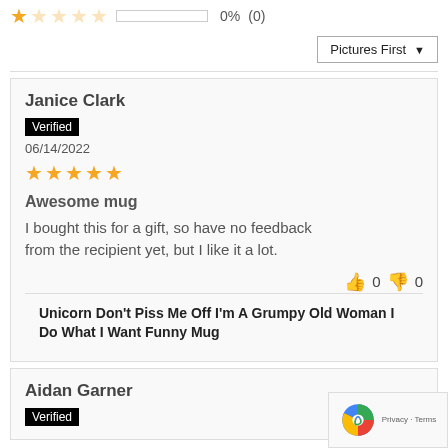★☆☆☆☆  0%  (0)
Pictures First ▼
Janice Clark
Verified
06/14/2022
★★★★★
Awesome mug
I bought this for a gift, so have no feedback from the recipient yet, but I like it a lot.
👍 0  👎 0
Unicorn Don't Piss Me Off I'm A Grumpy Old Woman I Do What I Want Funny Mug
Aidan Garner